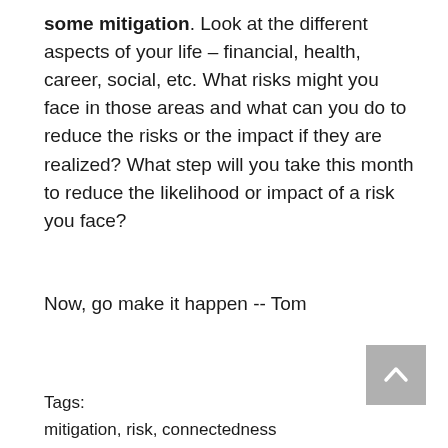some mitigation. Look at the different aspects of your life – financial, health, career, social, etc. What risks might you face in those areas and what can you do to reduce the risks or the impact if they are realized? What step will you take this month to reduce the likelihood or impact of a risk you face?
Now, go make it happen -- Tom
[Figure (other): Back to top button — grey square with upward chevron arrow]
Tags:
mitigation, risk, connectedness